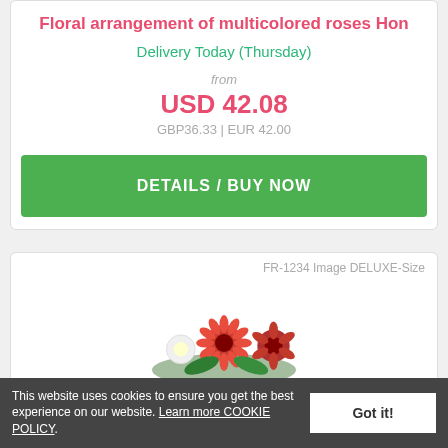Floral arrangement of multicolored roses Hon
Delivery Today (Thursday)
from
USD 42.08
GBP36.33 | EUR 42.00
DETAILS / BUY NOW
FR-1234 Image DELUXE-Size
[Figure (photo): Red and white floral arrangement with gerbera daisies and roses]
This website uses cookies to ensure you get the best experience on our website. Learn more COOKIE POLICY. Got it!